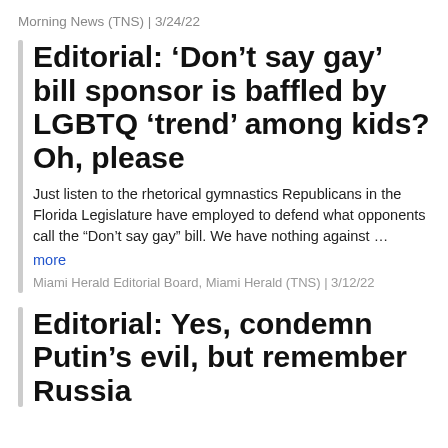Morning News (TNS) | 3/24/22
Editorial: ‘Don’t say gay’ bill sponsor is baffled by LGBTQ ‘trend’ among kids? Oh, please
Just listen to the rhetorical gymnastics Republicans in the Florida Legislature have employed to defend what opponents call the “Don’t say gay” bill. We have nothing against …
more
Miami Herald Editorial Board, Miami Herald (TNS) | 3/12/22
Editorial: Yes, condemn Putin’s evil, but remember Russia